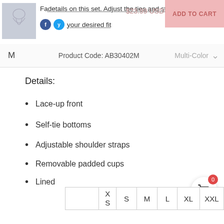details on this set. Adjust the ties and straps to your desired fit. $23.99 USD  ADD TO CART
M   Product Code: AB30402M   Multi-Color
Details:
Lace-up front
Self-tie bottoms
Adjustable shoulder straps
Removable padded cups
Lined
Regular wash
Fabric: 80% chinlon, 20% spandex
|  | XS | S | M | L | XL | XXL |
| --- | --- | --- | --- | --- | --- | --- |